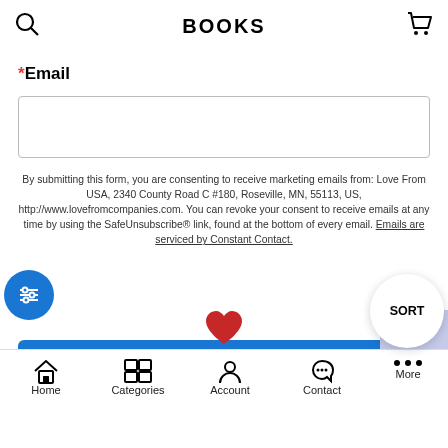BOOKS
*Email
By submitting this form, you are consenting to receive marketing emails from: Love From USA, 2340 County Road C #180, Roseville, MN, 55113, US, http://www.lovefromcompanies.com. You can revoke your consent to receive emails at any time by using the SafeUnsubscribe® link, found at the bottom of every email. Emails are serviced by Constant Contact.
Sign Up!
SORT
FILTER
Home  Categories  Account  Contact  More